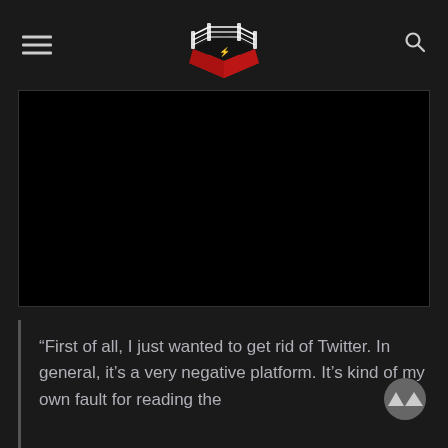[Navigation header with hamburger menu, wrestling ring logo, and search icon]
[Figure (screenshot): Black video embed area – a video player with no visible content (black screen)]
“First of all, I just wanted to get rid of Twitter. In general, it’s a very negative platform. It’s kind of my own fault for reading the